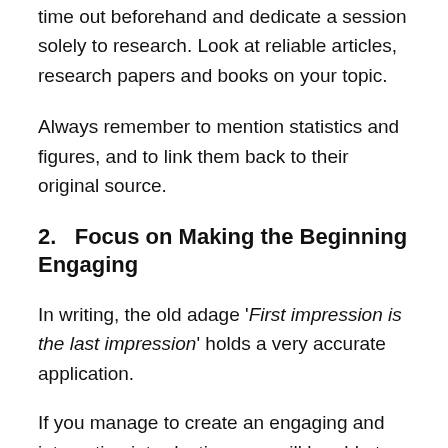time out beforehand and dedicate a session solely to research. Look at reliable articles, research papers and books on your topic.
Always remember to mention statistics and figures, and to link them back to their original source.
2.   Focus on Making the Beginning Engaging
In writing, the old adage 'First impression is the last impression' holds a very accurate application.
If you manage to create an engaging and interesting introduction, you will be able to hook